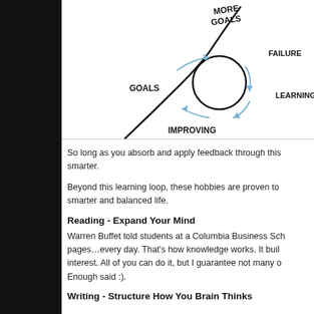[Figure (illustration): Hand-drawn diagram showing a learning loop cycle: a circle with arrows labeled Goals, Failure, Learning, Improving cycling around it, and a curved line going up through the circle labeled More Goals at the top.]
So long as you absorb and apply feedback through this smarter.
Beyond this learning loop, these hobbies are proven to smarter and balanced life.
Reading - Expand Your Mind
Warren Buffet told students at a Columbia Business Sch pages…every day. That's how knowledge works. It buil interest. All of you can do it, but I guarantee not many o Enough said :).
Writing - Structure How You Brain Thinks